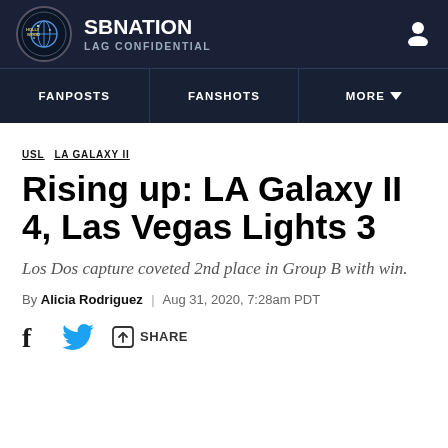SBNATION LAG CONFIDENTIAL
FANPOSTS | FANSHOTS | MORE
USL  LA GALAXY II
Rising up: LA Galaxy II 4, Las Vegas Lights 3
Los Dos capture coveted 2nd place in Group B with win.
By Alicia Rodriguez | Aug 31, 2020, 7:28am PDT
SHARE